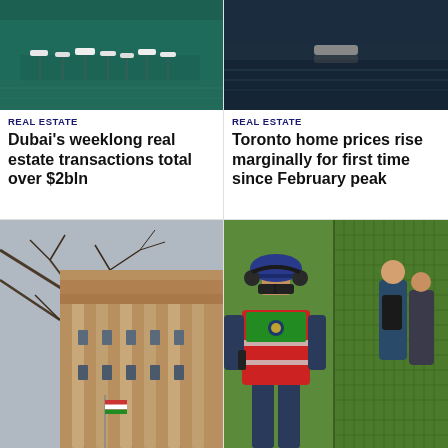[Figure (photo): Aerial view of marina with boats and yachts in turquoise water]
REAL ESTATE
Dubai's weeklong real estate transactions total over $2bln
[Figure (photo): Aerial view of dark water with a small boat]
REAL ESTATE
Toronto home prices rise marginally for first time since February peak
[Figure (photo): Looking up at a classical European building with columns and bare winter trees against a grey sky, with a flag hanging from the building]
[Figure (photo): A security worker in a red high-visibility vest, blue hard hat, sunglasses and ear protectors stands near a green mesh fence; two people with backpacks walk away in the background]